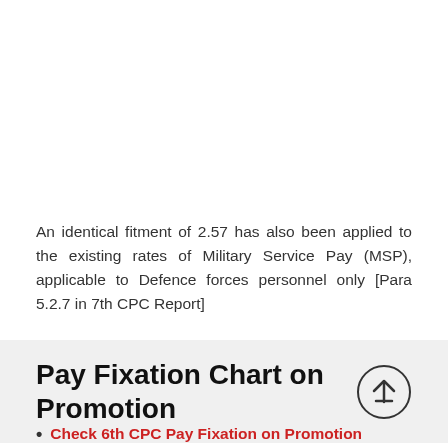An identical fitment of 2.57 has also been applied to the existing rates of Military Service Pay (MSP), applicable to Defence forces personnel only [Para 5.2.7 in 7th CPC Report]
Pay Fixation Chart on Promotion
Check 6th CPC Pay Fixation on Promotion